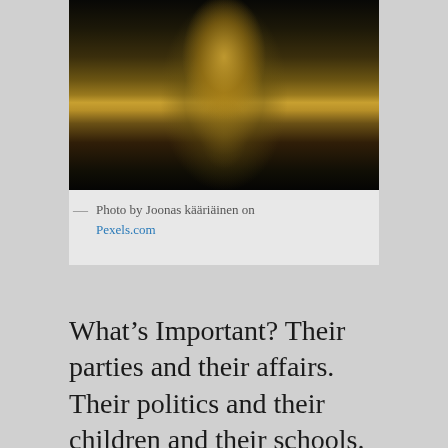[Figure (photo): Dark background photo of a sparkling champagne glass filled with golden bubbling liquid, shot close-up against a dark background with golden bokeh effects]
— Photo by Joonas kääriäinen on Pexels.com
What’s Important? Their parties and their affairs. Their politics and their children and their schools.  Their colleges